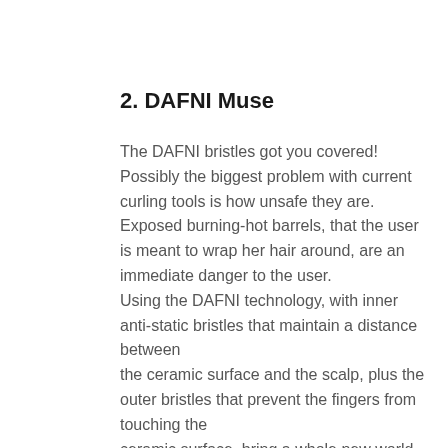2. DAFNI Muse
The DAFNI bristles got you covered! Possibly the biggest problem with current curling tools is how unsafe they are. Exposed burning-hot barrels, that the user is meant to wrap her hair around, are an immediate danger to the user.
Using the DAFNI technology, with inner anti-static bristles that maintain a distance between
the ceramic surface and the scalp, plus the outer bristles that prevent the fingers from touching the
ceramic surface, bring a whole new world of possibilities to curl hair